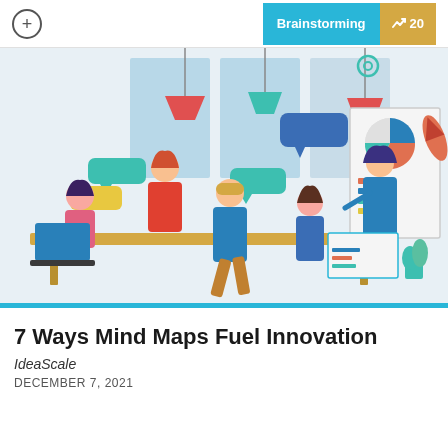+ Brainstorming 20
[Figure (illustration): Flat-style illustration of a diverse team brainstorming around a table with speech bubbles, charts on a whiteboard, hanging lights, and office elements.]
7 Ways Mind Maps Fuel Innovation
IdeaScale
DECEMBER 7, 2021